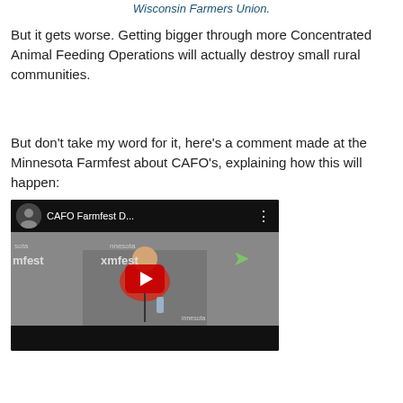Wisconsin Farmers Union.
But it gets worse. Getting bigger through more Concentrated Animal Feeding Operations will actually destroy small rural communities.
But don't take my word for it, here's a comment made at the Minnesota Farmfest about CAFO's, explaining how this will happen:
[Figure (screenshot): YouTube video embed showing 'CAFO Farmfest D...' with a man in a red shirt at what appears to be Minnesota Farmfest, with a red play button overlay.]